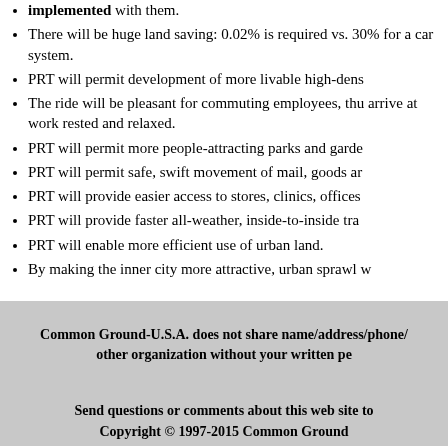implemented with them.
There will be huge land saving: 0.02% is required vs. 30% for a car system.
PRT will permit development of more livable high-dens...
The ride will be pleasant for commuting employees, thus they arrive at work rested and relaxed.
PRT will permit more people-attracting parks and garde...
PRT will permit safe, swift movement of mail, goods ar...
PRT will provide easier access to stores, clinics, offices...
PRT will provide faster all-weather, inside-to-inside tra...
PRT will enable more efficient use of urban land.
By making the inner city more attractive, urban sprawl w...
Common Ground-U.S.A. does not share name/address/phone/ other organization without your written pe...
Send questions or comments about this web site to
Copyright © 1997-2015 Common Ground...